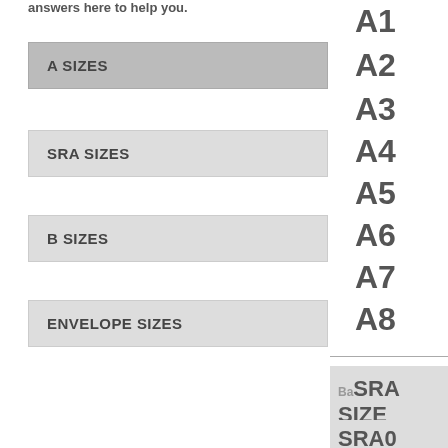answers here to help you.
A SIZES
SRA SIZES
B SIZES
ENVELOPE SIZES
A1
A2
A3
A4
A5
A6
A7
A8
Back SRA SIZES
SRA0